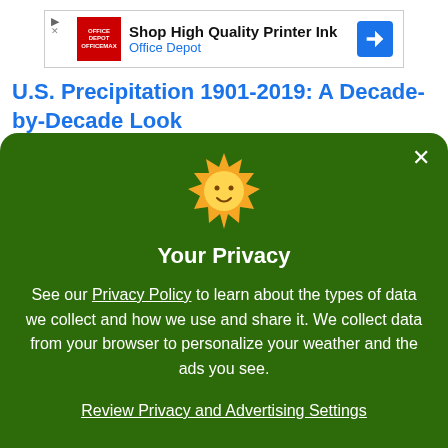[Figure (other): Advertisement banner for Office Depot printer ink with logo, text, and directional arrow icon]
U.S. Precipitation 1901-2019: A Decade-by-Decade Look
There are some interesting conclusions, but they vary from considerably from one region to the next. Please view the posts for the details.
Your Privacy
See our Privacy Policy to learn about the types of data we collect and how we use and share it. We collect data from your browser to personalize your weather and the ads you see.
Review Privacy and Advertising Settings